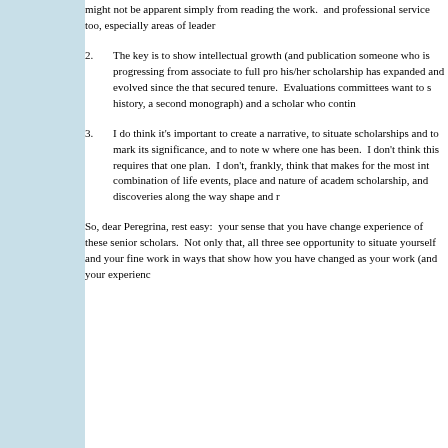might not be apparent simply from reading the work. and professional service too, especially areas of leader
2. The key is to show intellectual growth (and publication someone who is progressing from associate to full pro his/her scholarship has expanded and evolved since the that secured tenure. Evaluations committees want to s history, a second monograph) and a scholar who contin
3. I do think it's important to create a narrative, to situate scholarships and to mark its significance, and to note w where one has been. I don't think this requires that one plan. I don't, frankly, think that makes for the most int combination of life events, place and nature of academ scholarship, and discoveries along the way shape and r
So, dear Peregrina, rest easy: your sense that you have change experience of these senior scholars. Not only that, all three see opportunity to situate yourself and your fine work in ways that show how you have changed as your work (and your experienc